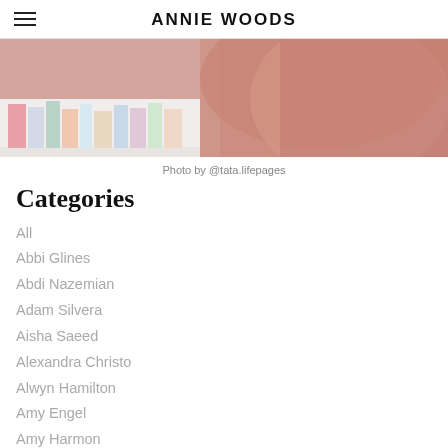ANNIE WOODS
[Figure (photo): Partial view of a person in a dusty rose/mauve top near a bookshelf with colorful book spines]
Photo by @tata.lifepages
Categories
All
Abbi Glines
Abdi Nazemian
Adam Silvera
Aisha Saeed
Alexandra Christo
Alwyn Hamilton
Amy Engel
Amy Harmon
Amy S. Foster
André Aciman
Annie Th…